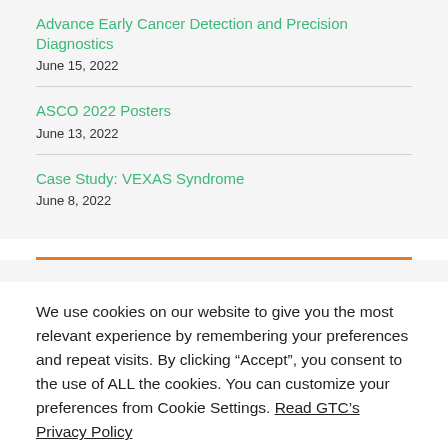Advance Early Cancer Detection and Precision Diagnostics
June 15, 2022
ASCO 2022 Posters
June 13, 2022
Case Study: VEXAS Syndrome
June 8, 2022
We use cookies on our website to give you the most relevant experience by remembering your preferences and repeat visits. By clicking “Accept”, you consent to the use of ALL the cookies. You can customize your preferences from Cookie Settings. Read GTC's Privacy Policy
We do not sell your personal information.
Cookie settings  REJECT  ACCEPT